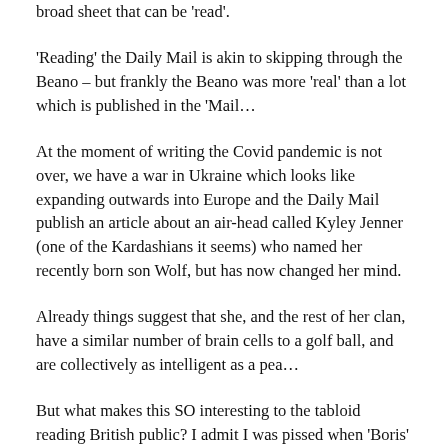broad sheet that can be 'read'.
'Reading' the Daily Mail is akin to skipping through the Beano – but frankly the Beano was more 'real' than a lot which is published in the 'Mail…
At the moment of writing the Covid pandemic is not over, we have a war in Ukraine which looks like expanding outwards into Europe and the Daily Mail publish an article about an air-head called Kyley Jenner (one of the Kardashians it seems) who named her recently born son Wolf, but has now changed her mind.
Already things suggest that she, and the rest of her clan, have a similar number of brain cells to a golf ball, and are collectively as intelligent as a pea…
But what makes this SO interesting to the tabloid reading British public? I admit I was pissed when 'Boris'